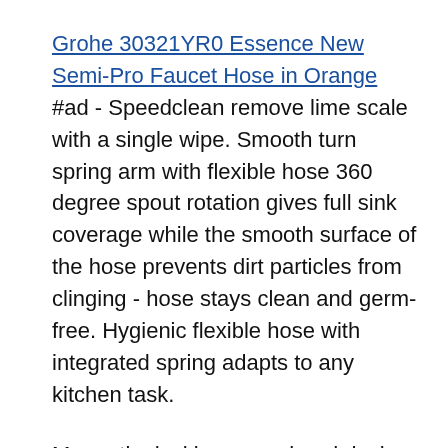Grohe 30321YR0 Essence New Semi-Pro Faucet Hose in Orange #ad - Speedclean remove lime scale with a single wipe. Smooth turn spring arm with flexible hose 360 degree spout rotation gives full sink coverage while the smooth surface of the hose prevents dirt particles from clinging - hose stays clean and germ-free. Hygienic flexible hose with integrated spring adapts to any kitchen task.
Magnetic docking spray head docks automatically onto the spout, no additional adjustment necessary. Heavy duty sound guard undercoating and thick rubber padding to minimize noise and reduce condensation | Sloped bottom with grooves to allow complete water drainage | | zEDGE zero Radius - sharp inside corners